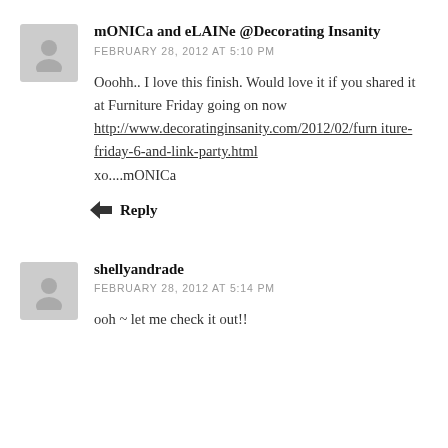mONICa and eLAINe @Decorating Insanity
FEBRUARY 28, 2012 AT 5:10 PM
Ooohh.. I love this finish. Would love it if you shared it at Furniture Friday going on now http://www.decoratinginsanity.com/2012/02/furniture-friday-6-and-link-party.html xo....mONICa
Reply
shellyandrade
FEBRUARY 28, 2012 AT 5:14 PM
ooh ~ let me check it out!!